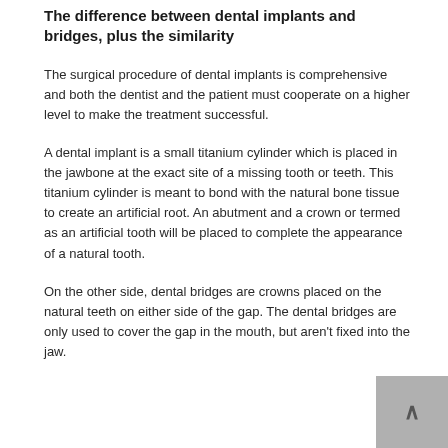The difference between dental implants and bridges, plus the similarity
The surgical procedure of dental implants is comprehensive and both the dentist and the patient must cooperate on a higher level to make the treatment successful.
A dental implant is a small titanium cylinder which is placed in the jawbone at the exact site of a missing tooth or teeth. This titanium cylinder is meant to bond with the natural bone tissue to create an artificial root. An abutment and a crown or termed as an artificial tooth will be placed to complete the appearance of a natural tooth.
On the other side, dental bridges are crowns placed on the natural teeth on either side of the gap. The dental bridges are only used to cover the gap in the mouth, but aren't fixed into the jaw.